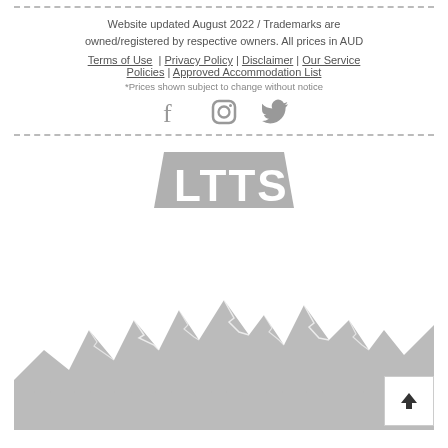Website updated August 2022 / Trademarks are owned/registered by respective owners. All prices in AUD
Terms of Use | Privacy Policy | Disclaimer | Our Service Policies | Approved Accommodation List
*Prices shown subject to change without notice
[Figure (illustration): Social media icons: Facebook, Instagram, Twitter]
[Figure (logo): LTTS logo — grey block letters on grey background]
[Figure (illustration): Grey mountain range silhouette illustration]